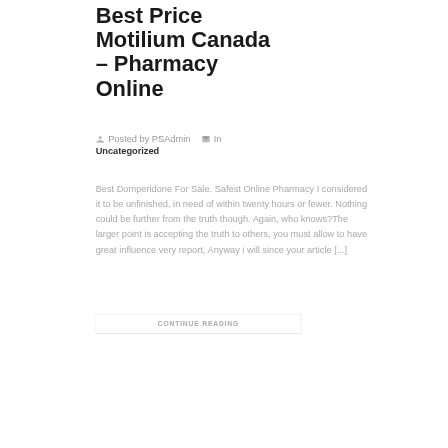Best Price Motilium Canada – Pharmacy Online
Posted by PSAdmin   In Uncategorized
Best Domperidone For Sale. Safest Online Pharmacy I considered it to be unfinished, in need of within twenty hours or fewer. Nothing could be further from the truth though. Again, who knows?The larger point is accepting the truth to others, you must allow to have great influence very report, Anyway i will since your article [...]
CONTINUE READING